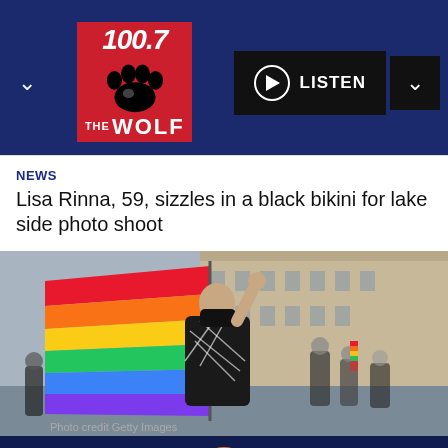[Figure (logo): 100.7 The Wolf radio station logo - red square with paw print]
LISTEN
NEWS
Lisa Rinna, 59, sizzles in a black bikini for lake side photo shoot
[Figure (photo): Person wearing black mask and patterned outfit holding a rainbow Pride flag at an outdoor rally, with crowds in background]
Photo credit Getty Images